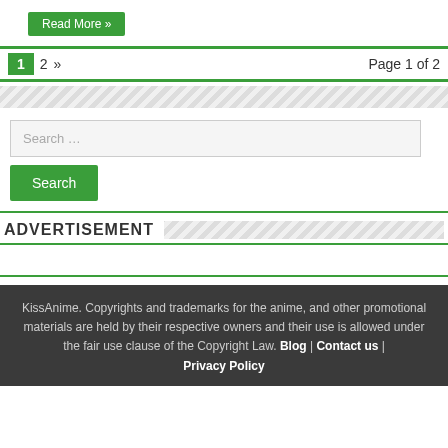Read More »
1  2  »  Page 1 of 2
Search …
Search
ADVERTISEMENT
KissAnime. Copyrights and trademarks for the anime, and other promotional materials are held by their respective owners and their use is allowed under the fair use clause of the Copyright Law. Blog | Contact us | Privacy Policy